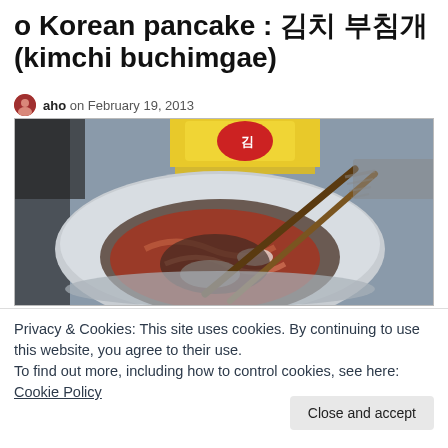o Korean pancake : 김치 부침개 (kimchi buchimgae)
aho on February 19, 2013
[Figure (photo): Photo of a stainless steel bowl containing kimchi batter mixture with chopsticks resting in it, and a yellow package in the background, on a blue-grey surface.]
Privacy & Cookies: This site uses cookies. By continuing to use this website, you agree to their use.
To find out more, including how to control cookies, see here: Cookie Policy